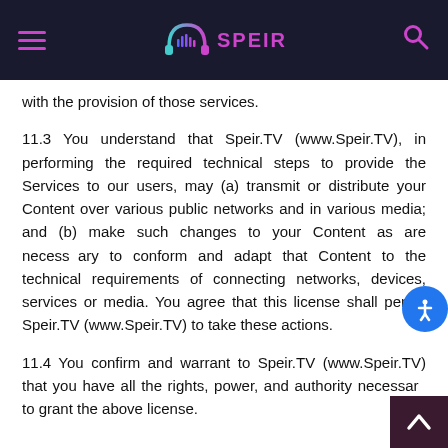SPEIR
with the provision of those services.
11.3 You understand that Speir.TV (www.Speir.TV), in performing the required technical steps to provide the Services to our users, may (a) transmit or distribute your Content over various public networks and in various media; and (b) make such changes to your Content as are necessary to conform and adapt that Content to the technical requirements of connecting networks, devices, services or media. You agree that this license shall permit Speir.TV (www.Speir.TV) to take these actions.
11.4 You confirm and warrant to Speir.TV (www.Speir.TV) that you have all the rights, power, and authority necessary to grant the above license.